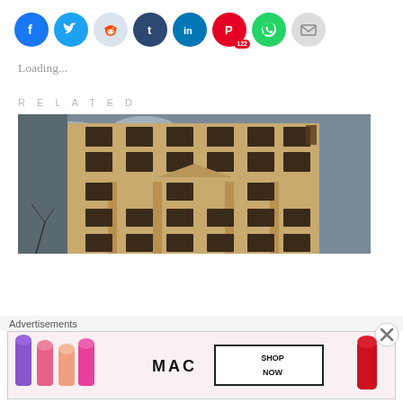[Figure (infographic): Row of social media share buttons: Facebook (blue), Twitter (blue), Reddit (light grey), Tumblr (dark blue), LinkedIn (blue), Pinterest (red, with badge showing 122), WhatsApp (green), Email (grey)]
Loading...
RELATED
[Figure (photo): Upward-angled photograph of a tall multi-story historic brick building with ornate architectural details against an overcast sky]
Advertisements
[Figure (photo): MAC Cosmetics advertisement banner showing lipsticks in various colors (purple, pink, peach) with MAC logo and SHOP NOW button]